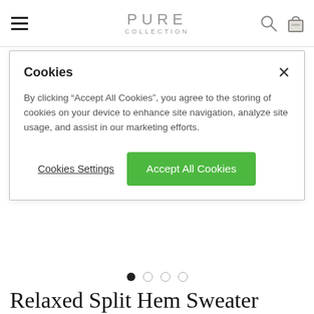PURE COLLECTION
Cookies
By clicking “Accept All Cookies”, you agree to the storing of cookies on your device to enhance site navigation, analyze site usage, and assist in our marketing efforts.
Cookies Settings   Accept All Cookies
Relaxed Split Hem Sweater
$140.00  $70.00
★★★★☆ (55 reviews)
STYLE CODE: LKBG2
COLOR:MULTI ANIMAL CUFF
$70.00